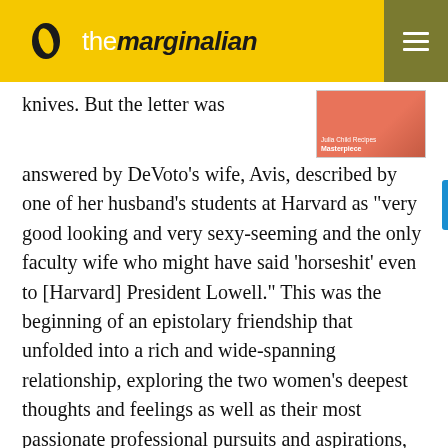the marginalian
knives. But the letter was answered by DeVoto’s wife, Avis, described by one of her husband’s students at Harvard as “very good looking and very sexy-seeming and the only faculty wife who might have said ‘horseshit’ even to [Harvard] President Lowell.” This was the beginning of an epistolary friendship that unfolded into a rich and wide-spanning relationship, exploring the two women’s deepest thoughts and feelings as well as their most passionate professional pursuits and aspirations, as Avis became Julia’s confidant, great champion, and unofficial literary agent.
As Always, Julia: The Letters of Julia Child and Avis